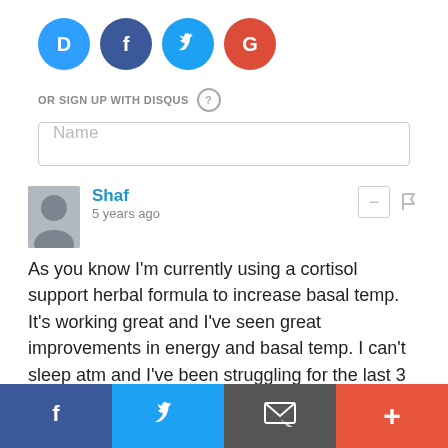[Figure (infographic): Social login icons: Disqus (blue), Facebook (dark blue), Twitter (light blue), Google (red) as circular buttons]
OR SIGN UP WITH DISQUS ?
Name
Shaf
5 years ago
As you know I'm currently using a cortisol support herbal formula to increase basal temp. It's working great and I've seen great improvements in energy and basal temp. I can't sleep atm and I've been struggling for the last 3 nights, what's the ideal bedtime basal temp? Wasn't covered in your article, I just checked mine at 3:05am with a gerathetm snd I'm currently 36.3. I've been averaging readings of 36.6-36.7 in the morning. I feel really hot, but wasn't sure if that's a high sleep temp? Might help others too so I thought I'd mention here.
[Figure (infographic): Bottom share bar with Facebook, Twitter, Email, and plus buttons]